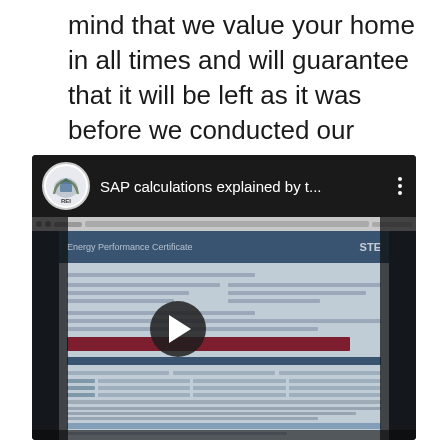mind that we value your home in all times and will guarantee that it will be left as it was before we conducted our survey.
[Figure (screenshot): YouTube video embed showing 'SAP calculations explained by t...' with REI channel icon, displaying a blurry Energy Performance Certificate document with a play button overlay in the center]